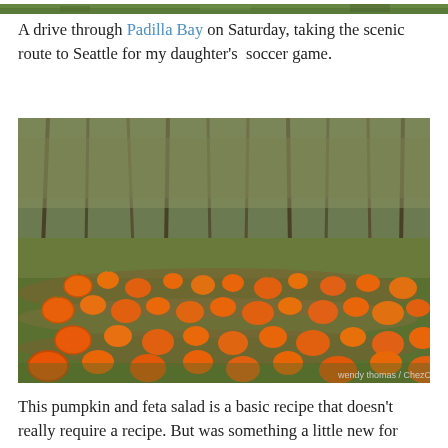[Figure (photo): Top strip of a photo visible at the very top of the page — appears to be foliage or outdoor scene, very cropped.]
A drive through Padilla Bay on Saturday, taking the scenic route to Seattle for my daughter's  soccer game.
[Figure (photo): A pumpkin patch in autumn. Many bright orange pumpkins scattered across a harvested field with dry grass and straw. Trees with bare or fading foliage line the background. Watermark reads 'wendy thomas / ChezChloe']
This pumpkin and feta salad is a basic recipe that doesn't really require a recipe. But was something a little new for